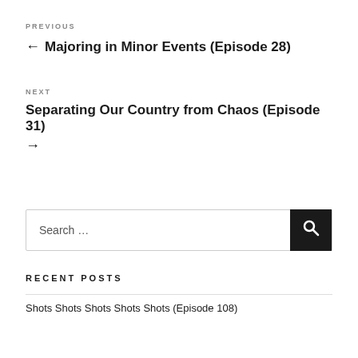PREVIOUS
← Majoring in Minor Events (Episode 28)
NEXT
Separating Our Country from Chaos (Episode 31) →
Search …
RECENT POSTS
Shots Shots Shots Shots Shots (Episode 108)